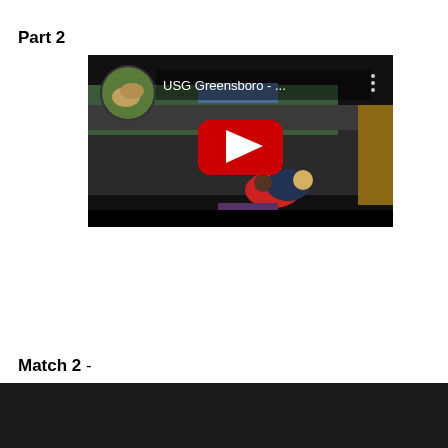Part 2
[Figure (screenshot): YouTube video thumbnail showing a wrestling match at USG Greensboro tournament. Title 'USG Greensboro - ...' visible with YouTube play button overlay. Shows wrestlers on mat with crowd in background.]
Match 2 -
[Figure (screenshot): Dark video thumbnail, mostly black/dark gray, bottom of page.]